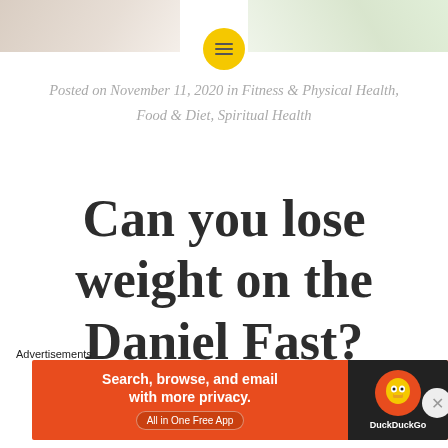[Figure (photo): Top banner image showing food/health related imagery with yellow menu button overlay]
Posted on November 11, 2020 in Fitness & Physical Health, Food & Diet, Spiritual Health
Can you lose weight on the Daniel Fast?
Advertisements
[Figure (screenshot): DuckDuckGo advertisement banner: Search, browse, and email with more privacy. All in One Free App]